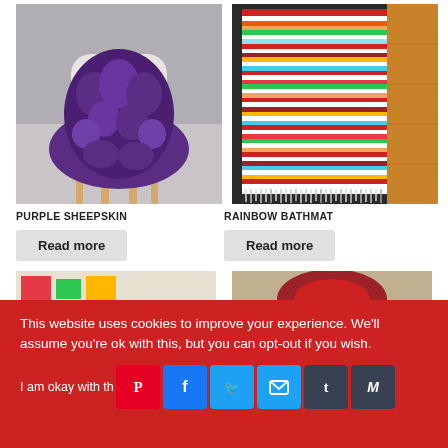[Figure (photo): Purple sheepskin rug draped over a white chair with wooden legs on a grey floor]
[Figure (photo): Colorful striped rainbow bathmat/rug on a wooden floor with fringe ends]
PURPLE SHEEPSKIN
RAINBOW BATHMAT
Read more
Read more
[Figure (photo): Partially visible product image at bottom left]
[Figure (photo): Partially visible product image at bottom right]
This website uses cookies to improve your experience. We'll assume you're ok with this, but you can opt-out if you wish.
I am okay with th...